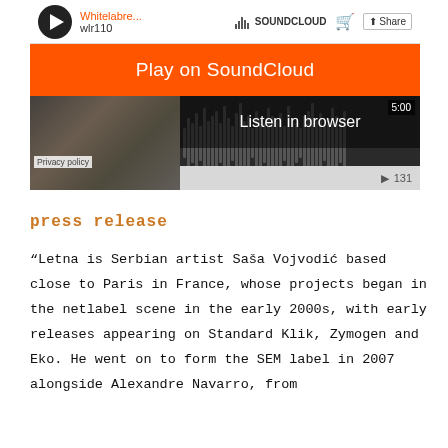[Figure (screenshot): SoundCloud embedded player widget showing a track by Whitelabre... (wlr110). Features an orange 'Play on SoundCloud' button overlay, a 'Listen in browser' overlay on the waveform, a thumbnail image on the left, waveform visualization, time display of 5:00, and play count of 131.]
press release
“Letna is Serbian artist Saša Vojvodić based close to Paris in France, whose projects began in the netlabel scene in the early 2000s, with early releases appearing on Standard Klik, Zymogen and Eko. He went on to form the SEM label in 2007 alongside Alexandre Navarro, from